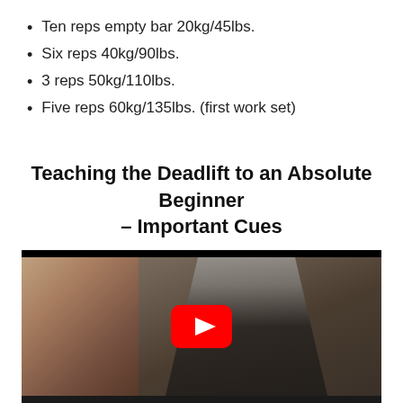Ten reps empty bar 20kg/45lbs.
Six reps 40kg/90lbs.
3 reps 50kg/110lbs.
Five reps 60kg/135lbs. (first work set)
Teaching the Deadlift to an Absolute Beginner – Important Cues
[Figure (screenshot): YouTube video thumbnail showing a person in a gym performing or being coached on a deadlift, with a red YouTube play button overlay in the center.]